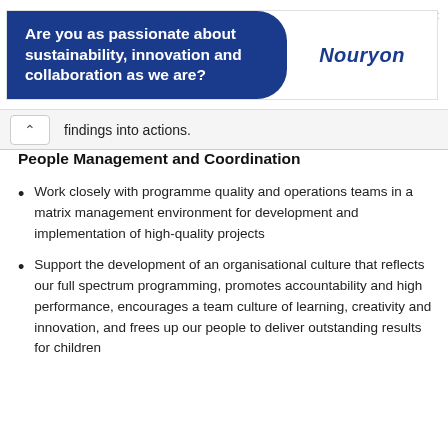[Figure (other): Nouryon advertisement banner with blue rounded box containing text 'Are you as passionate about sustainability, innovation and collaboration as we are?' and Nouryon logo on the right]
findings into actions.
People Management and Coordination
Work closely with programme quality and operations teams in a matrix management environment for development and implementation of high-quality projects
Support the development of an organisational culture that reflects our full spectrum programming, promotes accountability and high performance, encourages a team culture of learning, creativity and innovation, and frees up our people to deliver outstanding results for children